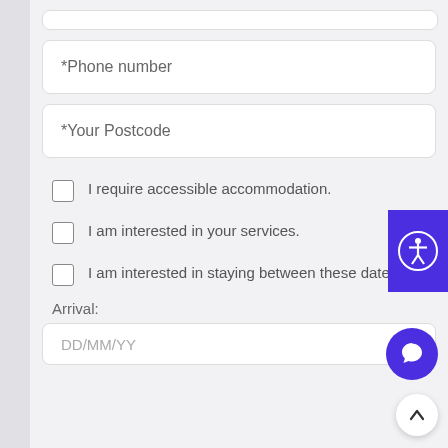*Phone number
*Your Postcode
I require accessible accommodation.
I am interested in your services.
I am interested in staying between these dates.
Arrival:
DD/MM/YY